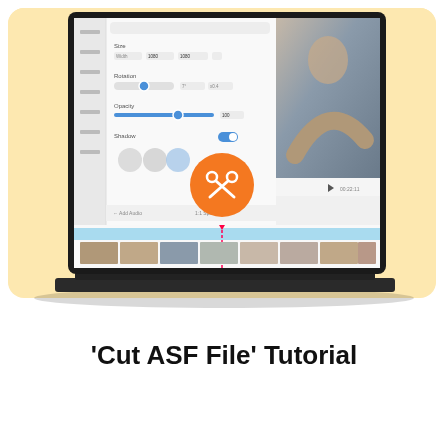[Figure (screenshot): A laptop computer displaying a video editing software interface. The screen shows editing controls (Size, Rotation, Opacity, Shadow) on the left panel, a video preview of a woman with arms outstretched on the right, and a timeline at the bottom with video clips. An orange circular scissors/cut icon is overlaid prominently in the center of the screen. The laptop sits on a warm peach/cream colored rounded-rectangle background.]
'Cut ASF File' Tutorial